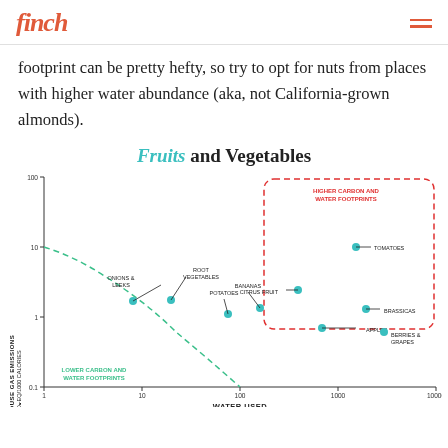finch
footprint can be pretty hefty, so try to opt for nuts from places with higher water abundance (aka, not California-grown almonds).
Fruits and Vegetables
[Figure (scatter-plot): Log-log scatter plot showing greenhouse gas emissions vs water used for various fruits and vegetables. Items in upper-right (higher carbon and water footprints): Tomatoes, Citrus Fruit, Brassicas, Berries & Grapes, Apples. Items in lower-left (lower carbon and water footprints): Onions & Leeks, Root Vegetables, Potatoes, Bananas.]